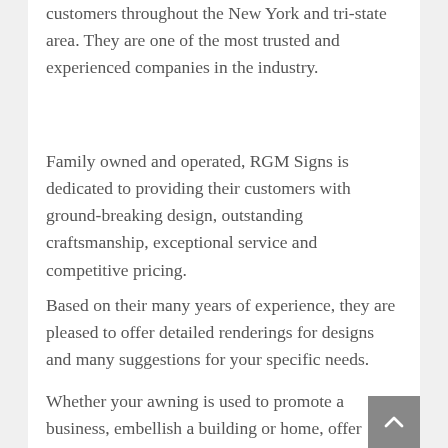customers throughout the New York and tri-state area. They are one of the most trusted and experienced companies in the industry.
Family owned and operated, RGM Signs is dedicated to providing their customers with ground-breaking design, outstanding craftsmanship, exceptional service and competitive pricing.
Based on their many years of experience, they are pleased to offer detailed renderings for designs and many suggestions for your specific needs.
Whether your awning is used to promote a business, embellish a building or home, offer shelter from the weather or control energy costs,